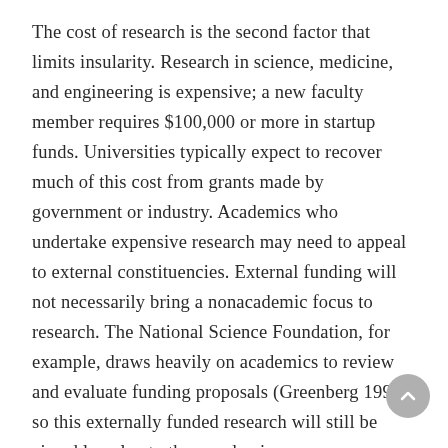The cost of research is the second factor that limits insularity. Research in science, medicine, and engineering is expensive; a new faculty member requires $100,000 or more in startup funds. Universities typically expect to recover much of this cost from grants made by government or industry. Academics who undertake expensive research may need to appeal to external constituencies. External funding will not necessarily bring a nonacademic focus to research. The National Science Foundation, for example, draws heavily on academics to review and evaluate funding proposals (Greenberg 1999), so this externally funded research will still be aimed largely at other academics.
If research is primarily a consumption good for faculty, why do colleges and universities tolerate, encourage, and support faculty research? Colleges and universities market